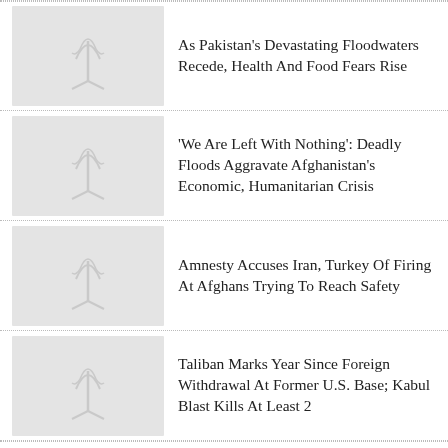As Pakistan's Devastating Floodwaters Recede, Health And Food Fears Rise
'We Are Left With Nothing': Deadly Floods Aggravate Afghanistan's Economic, Humanitarian Crisis
Amnesty Accuses Iran, Turkey Of Firing At Afghans Trying To Reach Safety
Taliban Marks Year Since Foreign Withdrawal At Former U.S. Base; Kabul Blast Kills At Least 2